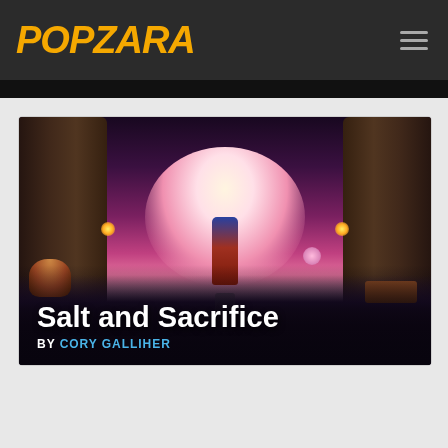POPZARA
[Figure (photo): Screenshot from Salt and Sacrifice video game showing a warrior silhouette standing between two stone pillars with a pink/magenta glowing sky in the background, dark reflective floor in the foreground]
Salt and Sacrifice
BY CORY GALLIHER